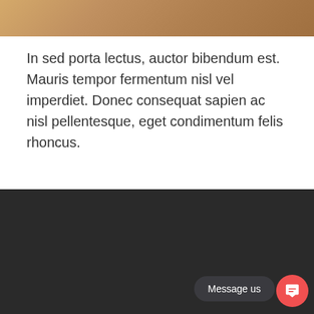[Figure (photo): Partial beach/waterfront photo strip at the top of the page showing sandy/rocky shore with warm tones]
In sed porta lectus, auctor bibendum est. Mauris tempor fermentum nisl vel imperdiet. Donec consequat sapien ac nisl pellentesque, eget condimentum felis rhoncus.
HOME   STUDIO 74   RESERVATION   AMENITIES   ABOUT   CONTACT
Message us